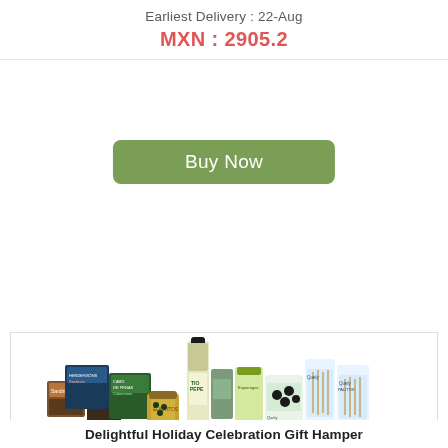Earliest Delivery : 22-Aug
MXN : 2905.2
Buy Now
[Figure (photo): A gift hamper product photo showing a bottle of Tio Pepe wine, sardines tin, crackers box, calamari can, olives jar, breadsticks, and various gourmet food items arranged together]
Delightful Holiday Celebration Gift Hamper